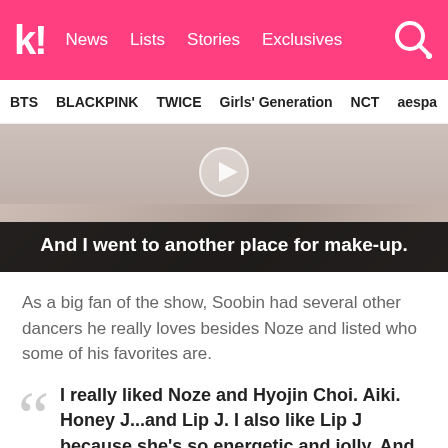k! News  Lists  Stories  Exclusives
BTS  BLACKPINK  TWICE  Girls' Generation  NCT  aespa
[Figure (screenshot): Video screenshot showing a person, with subtitle overlay text reading: And I went to another place for make-up.]
As a big fan of the show, Soobin had several other dancers he really loves besides Noze and listed who some of his favorites are.
I really liked Noze and Hyojin Choi. Aiki. Honey J...and Lip J. I also like Lip J because she's so energetic and jolly. And Ri.hey is also very cool. She's very